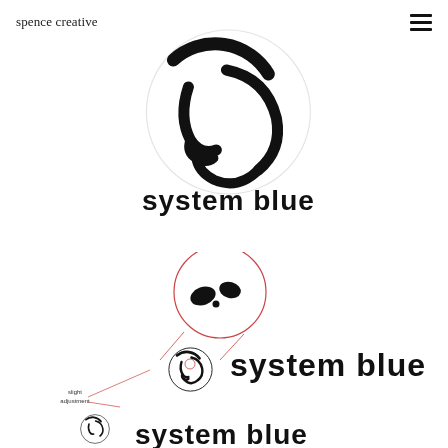spence creative
[Figure (logo): System Blue logo: circular arc icon with stylized letter forms inside, above the text 'system blue' in bold sans-serif]
[Figure (illustration): Zoomed detail of the System Blue logo mark with magnification circle, annotation lines, and the full logo at smaller size with 'slight adjustment' label, plus partial bottom row logo]
slight adjustment